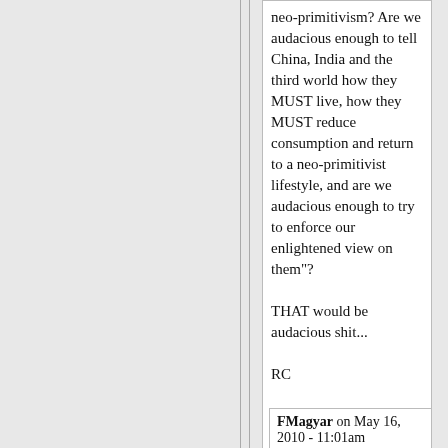neo-primitivism? Are we audacious enough to tell China, India and the third world how they MUST live, how they MUST reduce consumption and return to a neo-primitivist lifestyle, and are we audacious enough to try to enforce our enlightened view on them"?

THAT would be audacious shit...

RC
FMagyar on May 16, 2010 - 11:01am